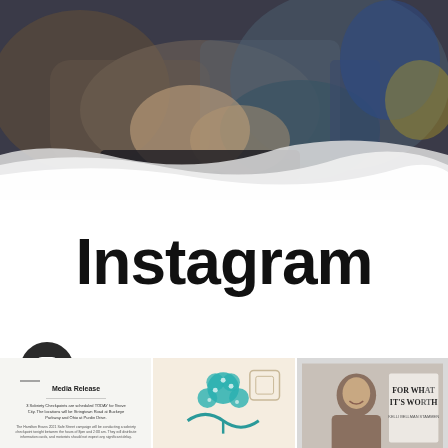[Figure (photo): Dark blurred background photo of hands playing a sport (curling or similar), with a white paint brush stroke overlay at the bottom]
Instagram
visitgrovecity
[Figure (photo): Three small Instagram thumbnail images: a media release document, a teal tree/wave logo, and a woman's portrait with text 'FOR WHAT IT'S WORTH']